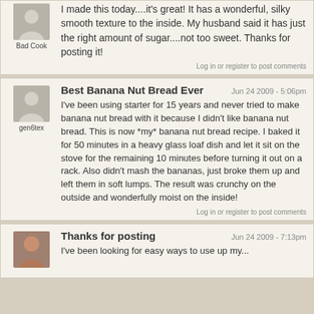I made this today....it's great!  It has a wonderful, silky smooth texture to the inside.  My husband said it has just the right amount of sugar....not too sweet.  Thanks for posting it!
Log in or register to post comments
Best Banana Nut Bread Ever
Jun 24 2009 - 5:06pm
I've been using starter for 15 years and never tried to make banana nut bread with it because I didn't like banana nut bread. This is now *my* banana nut bread recipe. I baked it for 50 minutes in a heavy glass loaf dish and let it sit on the stove for the remaining 10 minutes before turning it out on a rack. Also didn't mash the bananas, just broke them up and left them in soft lumps. The result was crunchy on the outside and wonderfully moist on the inside!
Log in or register to post comments
Thanks for posting
Jun 24 2009 - 7:13pm
I've been looking for easy ways to use up my...